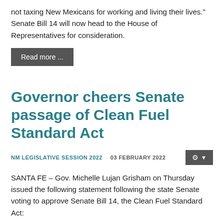not taxing New Mexicans for working and living their lives." Senate Bill 14 will now head to the House of Representatives for consideration.
Read more ...
Governor cheers Senate passage of Clean Fuel Standard Act
NM LEGISLATIVE SESSION 2022   03 FEBRUARY 2022
SANTA FE – Gov. Michelle Lujan Grisham on Thursday issued the following statement following the state Senate voting to approve Senate Bill 14, the Clean Fuel Standard Act:
"The Clean Fuel Standard Act will reduce the carbon intensity of transportation fuels, improving the health of our communities and quality of our air while increasing consumer fuel options and